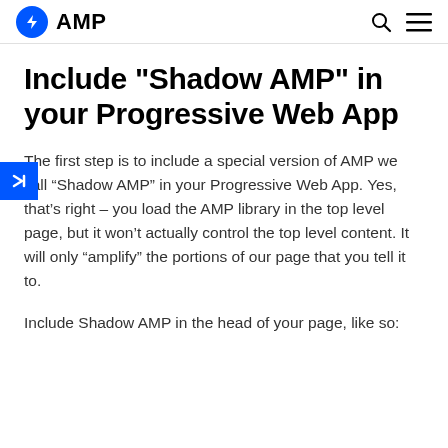AMP
Include "Shadow AMP" in your Progressive Web App
The first step is to include a special version of AMP we call “Shadow AMP” in your Progressive Web App. Yes, that’s right – you load the AMP library in the top level page, but it won’t actually control the top level content. It will only “amplify” the portions of our page that you tell it to.
Include Shadow AMP in the head of your page, like so: